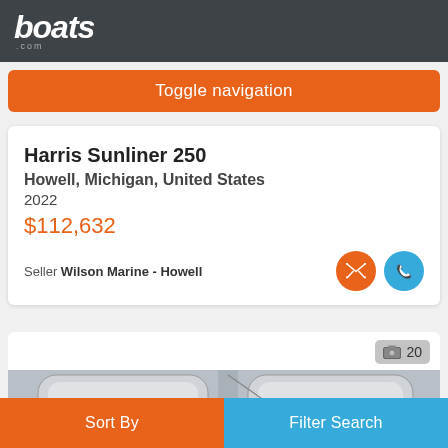boats.com
Toggle navigation
Harris Sunliner 250
Howell, Michigan, United States
2022
$112,632
Seller Wilson Marine - Howell
[Figure (photo): Boat listing photo strip showing interior seating of a pontoon boat, with photo count badge showing 20]
Sort By
Filter Search